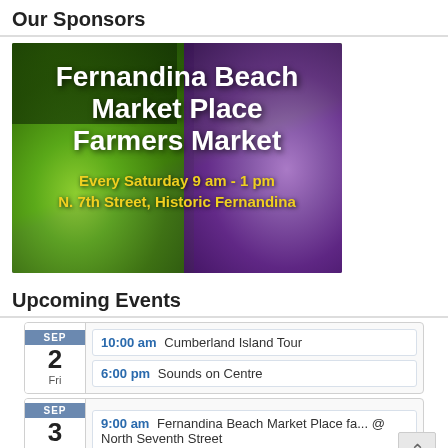Our Sponsors
[Figure (photo): Advertisement image for Fernandina Beach Market Place Farmers Market showing green and purple cauliflower with white bold text and yellow text reading: Fernandina Beach Market Place Farmers Market, Every Saturday 9 am - 1 pm, N. 7th Street, Historic Fernandina]
Upcoming Events
SEP 2 Fri — 10:00 am Cumberland Island Tour; 6:00 pm Sounds on Centre
SEP 3 Sat — 9:00 am Fernandina Beach Market Place fa... @ North Seventh Street